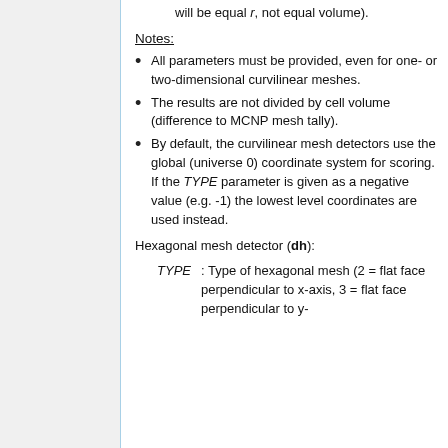will be equal r, not equal volume).
Notes:
All parameters must be provided, even for one- or two-dimensional curvilinear meshes.
The results are not divided by cell volume (difference to MCNP mesh tally).
By default, the curvilinear mesh detectors use the global (universe 0) coordinate system for scoring. If the TYPE parameter is given as a negative value (e.g. -1) the lowest level coordinates are used instead.
Hexagonal mesh detector (dh):
TYPE : Type of hexagonal mesh (2 = flat face perpendicular to x-axis, 3 = flat face perpendicular to y-